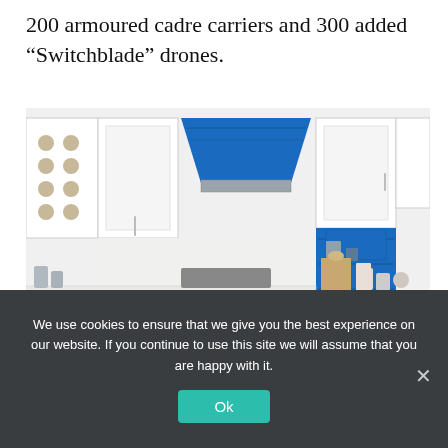200 armoured cadre carriers and 300 added “Switchblade” drones.
[Figure (photo): Kitchen interior with white and grey cabinets, a bold blue range hood and blue open shelving unit, white countertops, and a marble kitchen island in the foreground.]
We use cookies to ensure that we give you the best experience on our website. If you continue to use this site we will assume that you are happy with it.